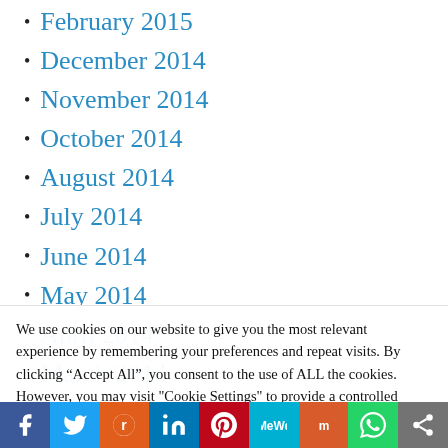February 2015
December 2014
November 2014
October 2014
August 2014
July 2014
June 2014
May 2014
April 2014
March 2014
We use cookies on our website to give you the most relevant experience by remembering your preferences and repeat visits. By clicking “Accept All”, you consent to the use of ALL the cookies. However, you may visit "Cookie Settings" to provide a controlled consent.
[Figure (infographic): Social media sharing bar with icons for Facebook, Twitter, Reddit, LinkedIn, Pinterest, MeWe, Mix, WhatsApp, and a share button]